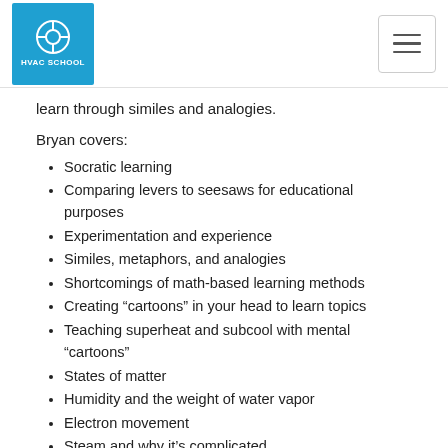HVAC School
learn through similes and analogies.
Bryan covers:
Socratic learning
Comparing levers to seesaws for educational purposes
Experimentation and experience
Similes, metaphors, and analogies
Shortcomings of math-based learning methods
Creating “cartoons” in your head to learn topics
Teaching superheat and subcool with mental “cartoons”
States of matter
Humidity and the weight of water vapor
Electron movement
Steam and why it’s complicated
Teaching electricity with comparisons (water, drawbridges, jump ropes)
How children (and babies) learn about physics as they navigate the world
Mythbusting